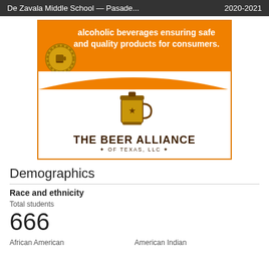De Zavala Middle School — Pasade... 2020-2021
[Figure (illustration): The Beer Alliance of Texas, LLC advertisement showing orange banner with text 'alcoholic beverages ensuring safe and quality products for consumers.' and company logo with beer mug graphic.]
Demographics
Race and ethnicity
Total students
666
African American
American Indian